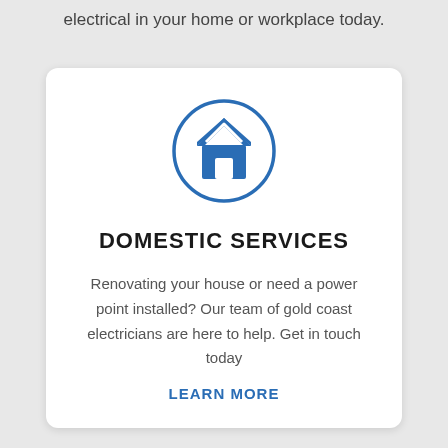electrical in your home or workplace today.
[Figure (illustration): House icon inside a circle, blue color, representing domestic/home services]
DOMESTIC SERVICES
Renovating your house or need a power point installed? Our team of gold coast electricians are here to help. Get in touch today
LEARN MORE